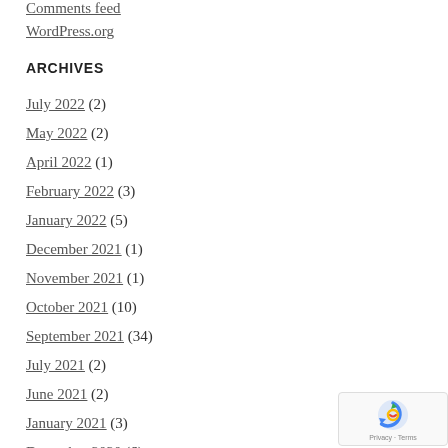Comments feed
WordPress.org
ARCHIVES
July 2022 (2)
May 2022 (2)
April 2022 (1)
February 2022 (3)
January 2022 (5)
December 2021 (1)
November 2021 (1)
October 2021 (10)
September 2021 (34)
July 2021 (2)
June 2021 (2)
January 2021 (3)
December 2020 (6)